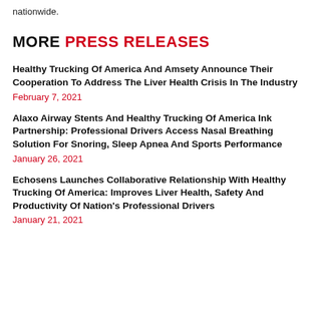nationwide.
MORE PRESS RELEASES
Healthy Trucking Of America And Amsety Announce Their Cooperation To Address The Liver Health Crisis In The Industry
February 7, 2021
Alaxo Airway Stents And Healthy Trucking Of America Ink Partnership: Professional Drivers Access Nasal Breathing Solution For Snoring, Sleep Apnea And Sports Performance
January 26, 2021
Echosens Launches Collaborative Relationship With Healthy Trucking Of America: Improves Liver Health, Safety And Productivity Of Nation’s Professional Drivers
January 21, 2021